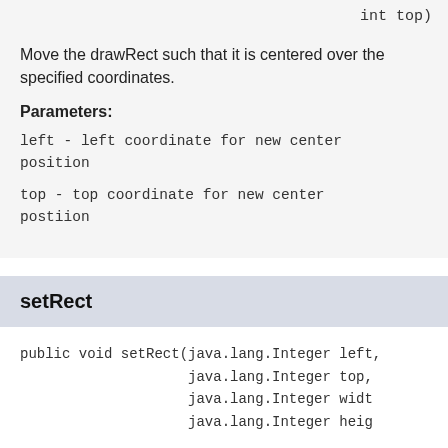int top)
Move the drawRect such that it is centered over the specified coordinates.
Parameters:
left - left coordinate for new center position
top - top coordinate for new center postiion
setRect
public void setRect(java.lang.Integer left,
                    java.lang.Integer top,
                    java.lang.Integer width,
                    java.lang.Integer height
Move and resize the drawRect to match the specified coordinates and size.